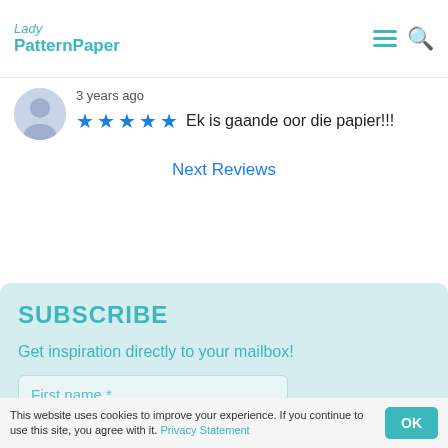Lady PatternPaper
3 years ago
Ek is gaande oor die papier!!!
Next Reviews
SUBSCRIBE
Get inspiration directly to your mailbox!
First name *
Email *
This website uses cookies to improve your experience. If you continue to use this site, you agree with it. Privacy Statement OK